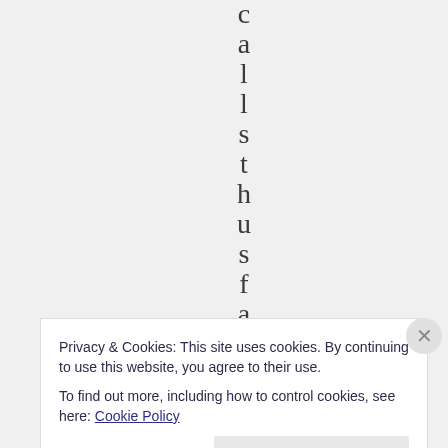[Figure (screenshot): Vertical text spelling out letters 'c a l l s t h u s f a' each on its own line, centered on a light gray background]
Privacy & Cookies: This site uses cookies. By continuing to use this website, you agree to their use.
To find out more, including how to control cookies, see here: Cookie Policy
Close and accept